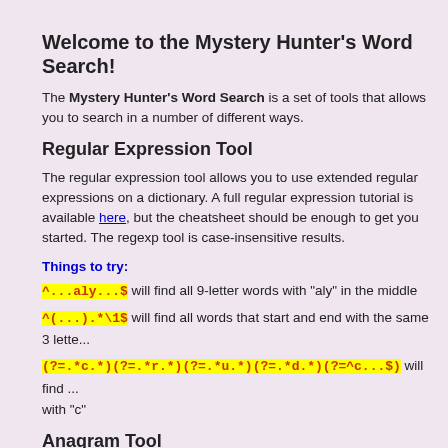Welcome to the Mystery Hunter's Word Search!
The Mystery Hunter's Word Search is a set of tools that allows you to search in a number of different ways.
Regular Expression Tool
The regular expression tool allows you to use extended regular expressions on a dictionary. A full regular expression tutorial is available here, but the cheatsheet should be enough to get you started. The regexp tool is case-insensitive results.
Things to try:
^...aly...$  will find all 9-letter words with "aly" in the middle
^(...).\1$  will find all words that start and end with the same 3 letters
(?=.*c.*)(?=.*r.*)(?=.*u.*)(?=.*d.*)(?=^c...$)  will find ... with "c"
Anagram Tool
The anagram tool will generate multiple-word anagrams from a given set of letters. Unlike anagrams (see the example above), this tool does not accept any wildcards. There is a function to filter results with a regular expression.
It is highly recommended NOT to use large dictionaries when using this tool. UK Cryptic dictionaries, in particular, are useless, because of how they are compiled (see below).